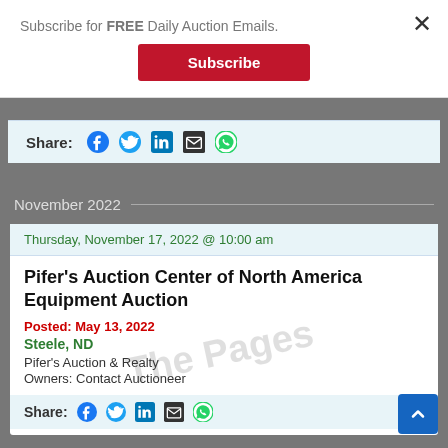Subscribe for FREE Daily Auction Emails.
Subscribe
[Figure (infographic): Social share bar with Facebook, Twitter, LinkedIn, Email, and WhatsApp icons]
November 2022
Thursday, November 17, 2022 @ 10:00 am
Pifer's Auction Center of North America Equipment Auction
Posted: May 13, 2022
Steele, ND
Pifer's Auction & Realty
Owners: Contact Auctioneer
[Figure (infographic): Social share bar with Facebook, Twitter, LinkedIn, Email, and WhatsApp icons]